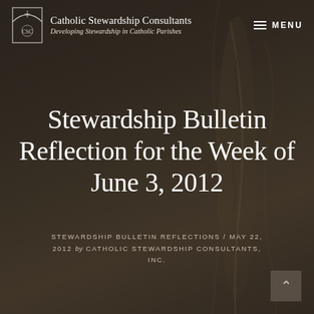[Figure (screenshot): Website header with Catholic Stewardship Consultants logo (gothic arch icon) and tagline 'Developing Stewardship in Catholic Parishes', with MENU navigation on right]
Stewardship Bulletin Reflection for the Week of June 3, 2012
STEWARDSHIP BULLETIN REFLECTIONS / MAY 22, 2012 by CATHOLIC STEWARDSHIP CONSULTANTS, INC.